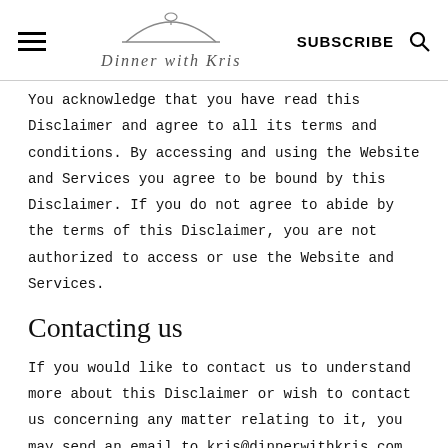Dinner with Kris — SUBSCRIBE
You acknowledge that you have read this Disclaimer and agree to all its terms and conditions. By accessing and using the Website and Services you agree to be bound by this Disclaimer. If you do not agree to abide by the terms of this Disclaimer, you are not authorized to access or use the Website and Services.
Contacting us
If you would like to contact us to understand more about this Disclaimer or wish to contact us concerning any matter relating to it, you may send an email to kris@dinnerwithkris.com